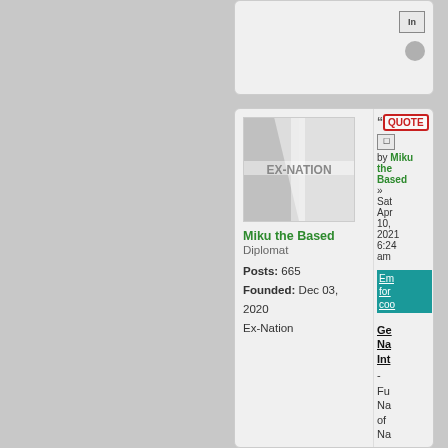[Figure (screenshot): Top card section of a forum post, partially visible with icons on right side]
[Figure (screenshot): Forum user profile card for Miku the Based, Diplomat, Posts: 665, Founded: Dec 03 2020, Ex-Nation, with quote button and post metadata on right]
Miku the Based
Diplomat
Posts: 665
Founded: Dec 03, 2020
Ex-Nation
by Miku the Based » Sat Apr 10, 2021 6:24 am
Get Nation Info - Full Name of Na